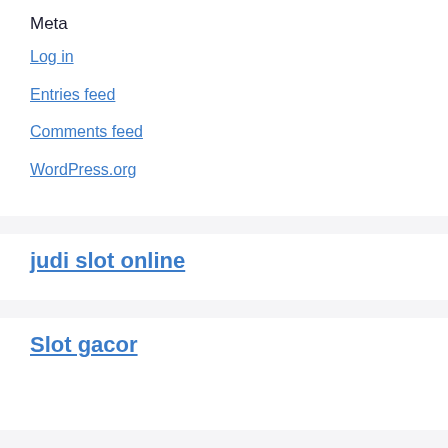Meta
Log in
Entries feed
Comments feed
WordPress.org
judi slot online
Slot gacor